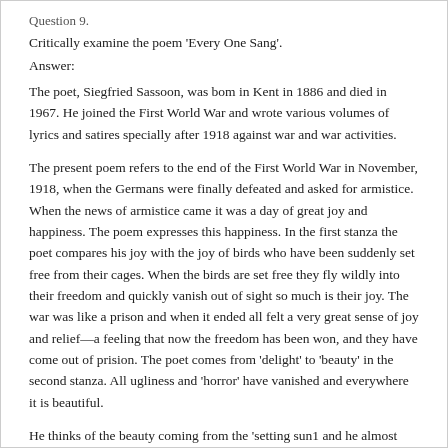Question 9.
Critically examine the poem 'Every One Sang'.
Answer:
The poet, Siegfried Sassoon, was bom in Kent in 1886 and died in 1967. He joined the First World War and wrote various volumes of lyrics and satires specially after 1918 against war and war activities.
The present poem refers to the end of the First World War in November, 1918, when the Germans were finally defeated and asked for armistice. When the news of armistice came it was a day of great joy and happiness. The poem expresses this happiness. In the first stanza the poet compares his joy with the joy of birds who have been suddenly set free from their cages. When the birds are set free they fly wildly into their freedom and quickly vanish out of sight so much is their joy. The war was like a prison and when it ended all felt a very great sense of joy and relief—a feeling that now the freedom has been won, and they have come out of prision. The poet comes from 'delight' to 'beauty' in the second stanza. All ugliness and 'horror' have vanished and everywhere it is beautiful.
He thinks of the beauty coming from the 'setting sun1 and he almost